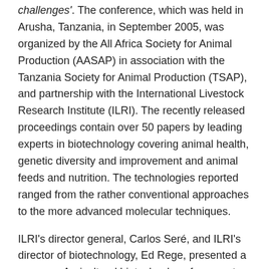challenges'. The conference, which was held in Arusha, Tanzania, in September 2005, was organized by the All Africa Society for Animal Production (AASAP) in association with the Tanzania Society for Animal Production (TSAP), and partnership with the International Livestock Research Institute (ILRI). The recently released proceedings contain over 50 papers by leading experts in biotechnology covering animal health, genetic diversity and improvement and animal feeds and nutrition. The technologies reported ranged from the rather conventional approaches to the more advanced molecular techniques.
ILRI's director general, Carlos Seré, and ILRI's director of biotechnology, Ed Rege, presented a paper on Agricultural biotechnology for poverty alleviation at the first plenary session. The paper highlights opportunities for livestock biotechnologies in the areas of animal health through new/improved vaccines and diagnostics, genetic improvement of livestock, conservation of indigenous breeds and genetic diversity, and improving the nutritional quality of feeds. They argue animal agriculture will continue to be of considerable importance for poverty...